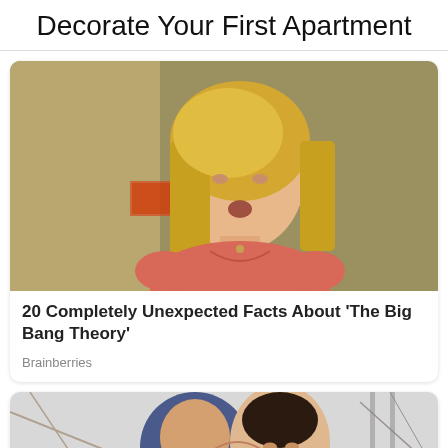Decorate Your First Apartment
[Figure (photo): A blonde woman in a coral/pink t-shirt with a surprised expression, from The Big Bang Theory TV show]
20 Completely Unexpected Facts About 'The Big Bang Theory'
Brainberries
[Figure (photo): A couple, a woman wearing a blue hijab and a man in a pink shirt, appearing to be about to kiss, outdoors with a CLOSE button overlay]